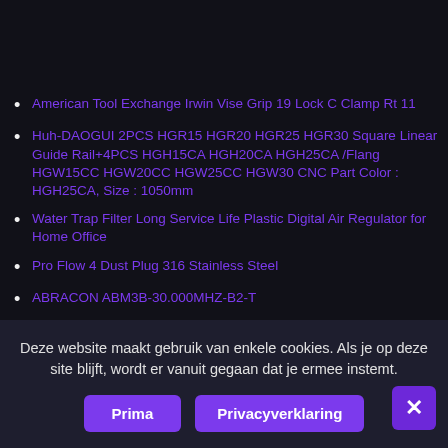American Tool Exchange Irwin Vise Grip 19 Lock C Clamp Rt 11
Huh-DAOGUI 2PCS HGR15 HGR20 HGR25 HGR30 Square Linear Guide Rail+4PCS HGH15CA HGH20CA HGH25CA /Flang HGW15CC HGW20CC HGW25CC HGW30 CNC Part Color : HGH25CA, Size : 1050mm
Water Trap Filter Long Service Life Plastic Digital Air Regulator for Home Office
Pro Flow 4 Dust Plug 316 Stainless Steel
ABRACON ABM3B-30.000MHZ-B2-T
NBK MJC-55-BL-15/16-25 Jaw Flexible Coupling Bore Diameters 15/16 and 25 mm Set Screw Type Aluminum A2017
Pallet Jack Wheel 3.25 x 2.00 Millennium Compatible With TOWMOTOR A00002205
Deze website maakt gebruik van enkele cookies. Als je op deze site blijft, wordt er vanuit gegaan dat je ermee instemt.
Prima
Privacyverklaring